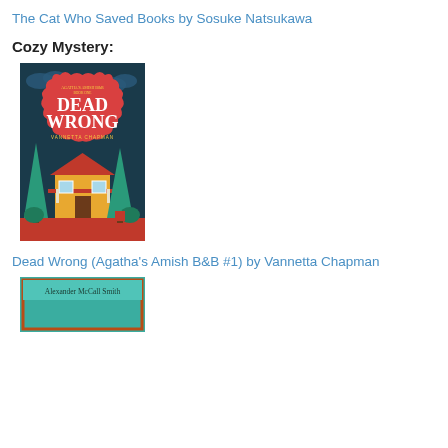The Cat Who Saved Books by Sosuke Natsukawa
Cozy Mystery:
[Figure (illustration): Book cover of 'Dead Wrong' by Vannetta Chapman – Agatha's Amish B&B Book One. Red decorative medallion on teal background with illustrated house, trees, and text.]
Dead Wrong (Agatha's Amish B&B #1) by Vannetta Chapman
[Figure (illustration): Partial book cover by Alexander McCall Smith, teal/turquoise background with author name visible.]